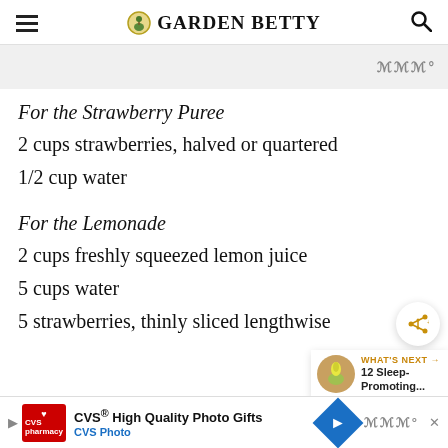GARDEN BETTY
For the Strawberry Puree
2 cups strawberries, halved or quartered
1/2 cup water
For the Lemonade
2 cups freshly squeezed lemon juice
5 cups water
5 strawberries, thinly sliced lengthwise
[Figure (screenshot): CVS Photo advertisement banner at the bottom: CVS High Quality Photo Gifts - CVS Photo]
CVS® High Quality Photo Gifts CVS Photo